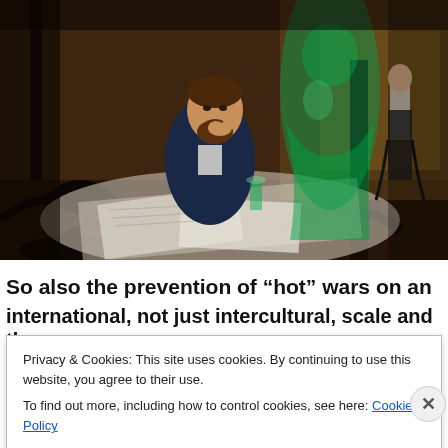[Figure (illustration): A painting depicting a man seated at a cafe table with papers/newspapers spread before him, resting his chin on his hand in a contemplative pose. A translucent green female figure stands behind him. Another man in formal attire is visible in the background on the right. The scene has dark, moody tones typical of late 19th century painting.]
So also the prevention of “hot” wars on an international, not just intercultural, scale and the
Privacy & Cookies: This site uses cookies. By continuing to use this website, you agree to their use.
To find out more, including how to control cookies, see here: Cookie Policy
Close and accept